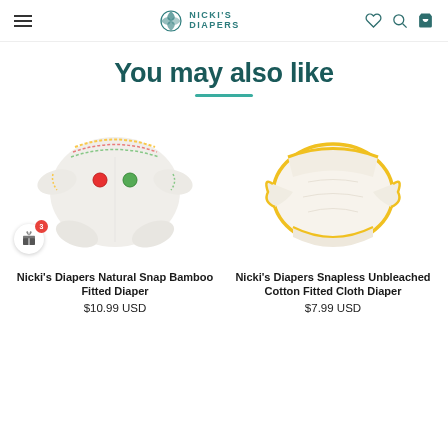Nicki's Diapers — navigation header with logo, hamburger menu, wishlist, search, and cart icons
You may also like
[Figure (photo): Nicki's Diapers Natural Snap Bamboo Fitted Diaper — white cloth diaper with colorful stitching and red/green snaps]
Nicki's Diapers Natural Snap Bamboo Fitted Diaper
$10.99 USD
[Figure (photo): Nicki's Diapers Snapless Unbleached Cotton Fitted Cloth Diaper — cream/ivory cloth diaper with yellow edging]
Nicki's Diapers Snapless Unbleached Cotton Fitted Cloth Diaper
$7.99 USD